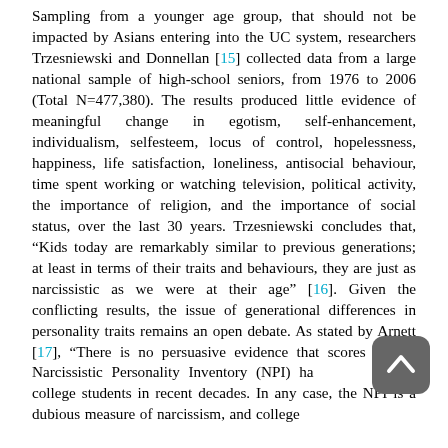Sampling from a younger age group, that should not be impacted by Asians entering into the UC system, researchers Trzesniewski and Donnellan [15] collected data from a large national sample of high-school seniors, from 1976 to 2006 (Total N=477,380). The results produced little evidence of meaningful change in egotism, self-enhancement, individualism, selfesteem, locus of control, hopelessness, happiness, life satisfaction, loneliness, antisocial behaviour, time spent working or watching television, political activity, the importance of religion, and the importance of social status, over the last 30 years. Trzesniewski concludes that, “Kids today are remarkably similar to previous generations; at least in terms of their traits and behaviours, they are just as narcissistic as we were at their age” [16]. Given the conflicting results, the issue of generational differences in personality traits remains an open debate. As stated by Arnett [17], “There is no persuasive evidence that scores on the Narcissistic Personality Inventory (NPI) have risen among college students in recent decades. In any case, the NPI is a dubious measure of narcissism, and college